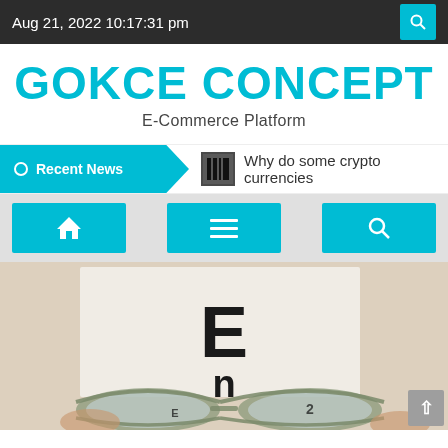Aug 21, 2022 10:17:31 pm
GOKCE CONCEPT
E-Commerce Platform
Recent News   Why do some crypto currencies
[Figure (screenshot): Navigation bar with home icon, hamburger menu icon, and search icon buttons in cyan/blue color]
[Figure (photo): Photo of eyeglasses held up in front of an eye chart showing the letter E, used as a hero/banner image for an article]